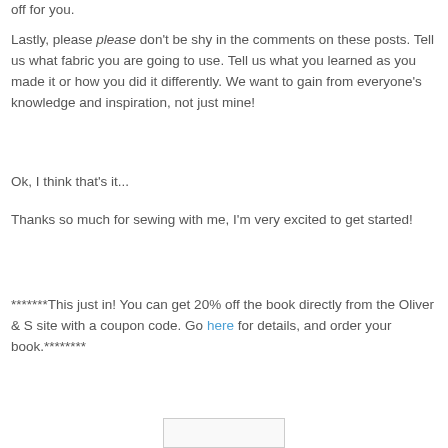off for you.
Lastly, please please don't be shy in the comments on these posts. Tell us what fabric you are going to use. Tell us what you learned as you made it or how you did it differently. We want to gain from everyone's knowledge and inspiration, not just mine!
Ok, I think that's it...
Thanks so much for sewing with me, I'm very excited to get started!
*******This just in! You can get 20% off the book directly from the Oliver & S site with a coupon code. Go here for details, and order your book.********
[Figure (other): Partial image at bottom of page, white/light gray rectangle]